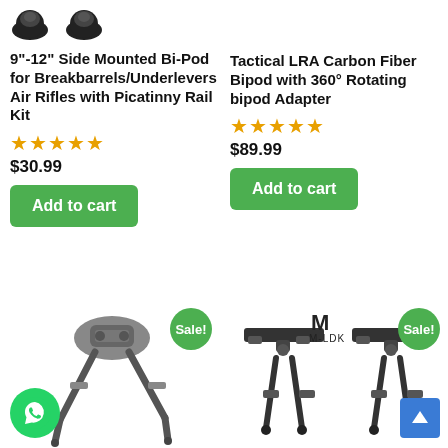[Figure (photo): Two black rubber cap/stopper product images at top left]
9"-12" Side Mounted Bi-Pod for Breakbarrels/Underlevers Air Rifles with Picatinny Rail Kit
★★★★★
$30.99
Add to cart
Tactical LRA Carbon Fiber Bipod with 360° Rotating bipod Adapter
★★★★★
$89.99
Add to cart
[Figure (photo): Gray tactical bipod with adjustable legs, Sale! badge, and M-LDK logo in upper right area]
[Figure (photo): Black M-LDK bipod (two legs variant), with Sale! badge upper right]